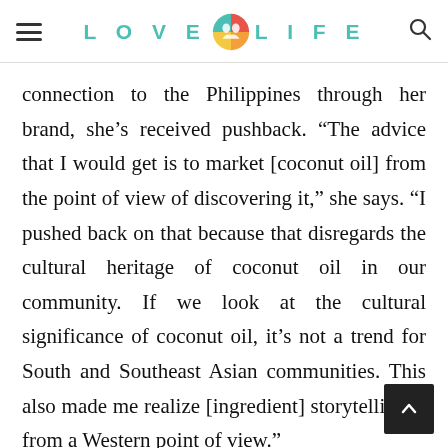LOVE LIFE
connection to the Philippines through her brand, she’s received pushback. “The advice that I would get is to market [coconut oil] from the point of view of discovering it,” she says. “I pushed back on that because that disregards the cultural heritage of coconut oil in our community. If we look at the cultural significance of coconut oil, it’s not a trend for South and Southeast Asian communities. This also made me realize [ingredient] storytelling is from a Western point of view.”